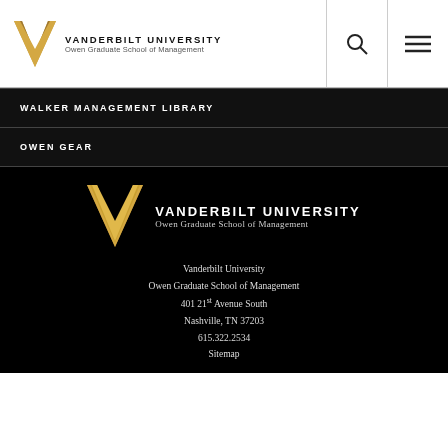VANDERBILT UNIVERSITY Owen Graduate School of Management
WALKER MANAGEMENT LIBRARY
OWEN GEAR
[Figure (logo): Vanderbilt University Owen Graduate School of Management logo with golden V mark]
Vanderbilt University
Owen Graduate School of Management
401 21st Avenue South
Nashville, TN 37203
615.322.2534
Sitemap